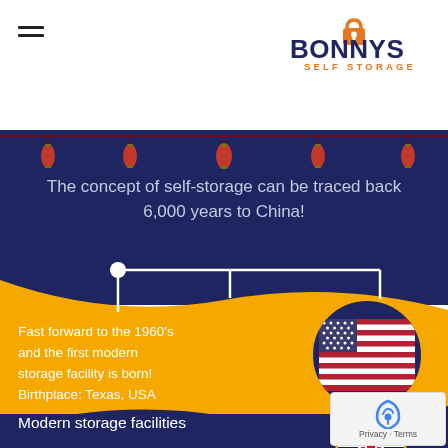[Figure (logo): Bonny's Self Storage logo — orange padlock icon, dark blue text BONNYS, orange text SELF STORAGE]
[Figure (infographic): Self-storage history infographic. Dark blue top panel with Chinese lanterns and text about 6,000-year history. Yellow/orange panel with timeline connector lines, text about 1960s first modern storage facility in Texas USA, with an American flag circle. Lower dark blue strip with text 'Modern storage facilities' and a UK flag circle partially visible at bottom.]